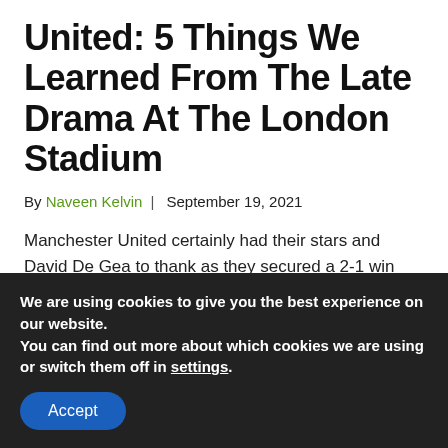United: 5 Things We Learned From The Late Drama At The London Stadium
By Naveen Kelvin | September 19, 2021
Manchester United certainly had their stars and David De Gea to thank as they secured a 2-1 win over West Ham United on Sunday. To be fair, the traveling side
We are using cookies to give you the best experience on our website.
You can find out more about which cookies we are using or switch them off in settings.
Accept